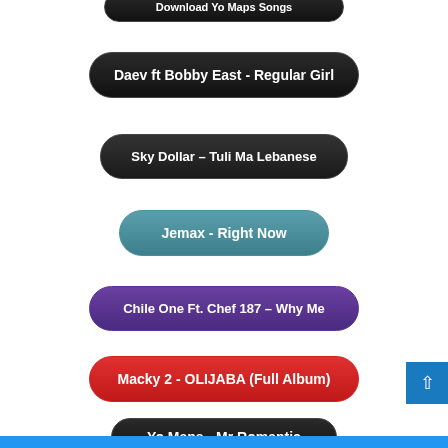Download Yo Maps Songs
Daev ft Bobby East - Regular Girl
Sky Dollar - Tuli Ma Lebanese
Jemax - Right Now
Chile One Ft. Chef 187 – Why Me
Macky 2 - OLIJABA (Full Album)
Yo Maps - Mr Romantic